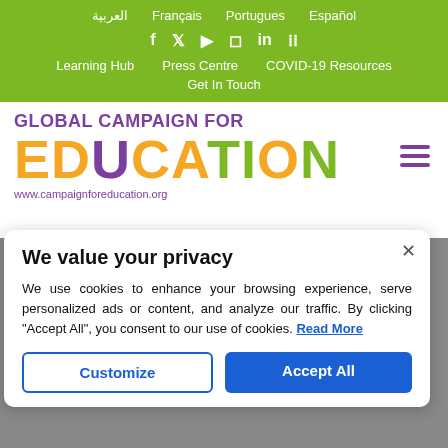العربية  Français  Portugues  Español
Learning Hub  Press Centre  COVID-19 Resources  Get In Touch
GLOBAL CAMPAIGN FOR EDUCATION www.campaignforeducation.org
We value your privacy
We use cookies to enhance your browsing experience, serve personalized ads or content, and analyze our traffic. By clicking "Accept All", you consent to our use of cookies. Read More
Customize  Accept All